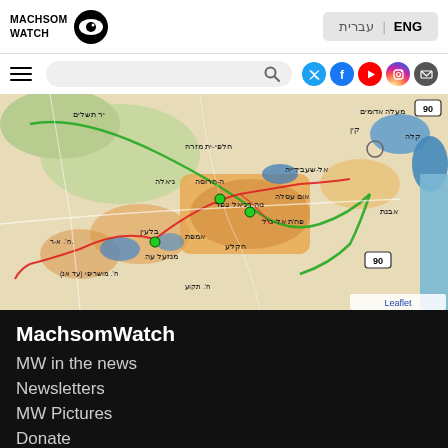MachsomWatch | ENG | עברית
[Figure (map): Interactive map showing West Bank area with Hebrew place names, green boundary lines, red route line, blue water bodies, and road labels including route 90. Leaflet attribution shown bottom right.]
MachsomWatch
MW in the news
Newsletters
MW Pictures
Donate